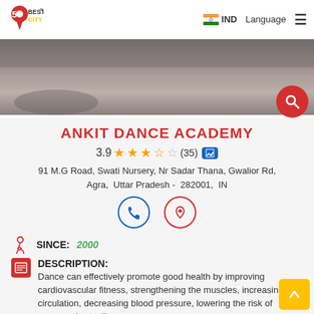5 Best City | IND | Language
[Figure (photo): Hero photo of an indoor floor/space, grayish concrete or marble floor visible]
ANKIT DANCE ACADEMY
3.9 ★★★☆☆ (35)
91 M.G Road, Swati Nursery, Nr Sadar Thana, Gwalior Rd, Agra,  Uttar Pradesh -  282001,  IN
SINCE: 2000
DESCRIPTION: Dance can effectively promote good health by improving cardiovascular fitness, strengthening the muscles, increasing circulation, decreasing blood pressure, lowering the risk of coronary heart disease